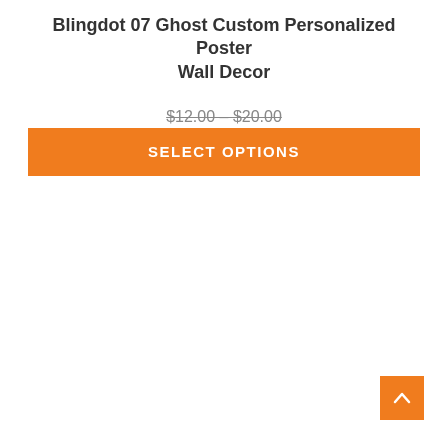Blingdot 07 Ghost Custom Personalized Poster Wall Decor
$12.00 – $20.00
SELECT OPTIONS